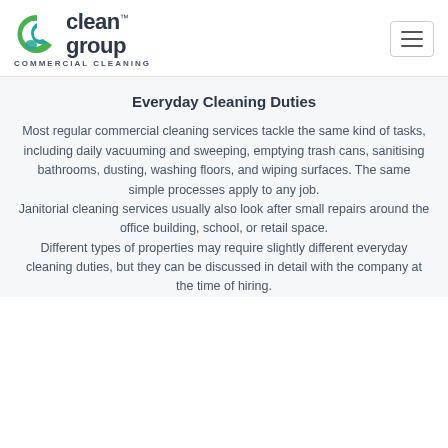clean group COMMERCIAL CLEANING
Everyday Cleaning Duties
Most regular commercial cleaning services tackle the same kind of tasks, including daily vacuuming and sweeping, emptying trash cans, sanitising bathrooms, dusting, washing floors, and wiping surfaces. The same simple processes apply to any job.
Janitorial cleaning services usually also look after small repairs around the office building, school, or retail space.
Different types of properties may require slightly different everyday cleaning duties, but they can be discussed in detail with the company at the time of hiring.